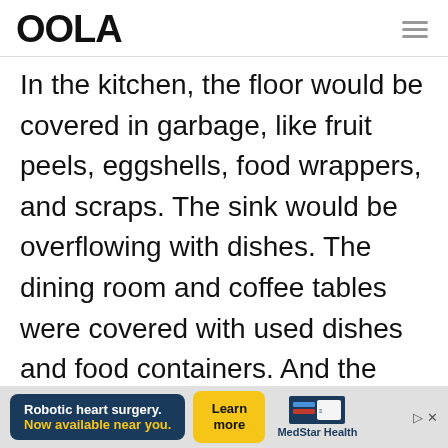OOLA
In the kitchen, the floor would be covered in garbage, like fruit peels, eggshells, food wrappers, and scraps. The sink would be overflowing with dishes. The dining room and coffee tables were covered with used dishes and food containers. And the bathroom, oh
[Figure (other): Advertisement banner: Robotic heart surgery. Now available near you. Learn more. MedStar Health logo.]